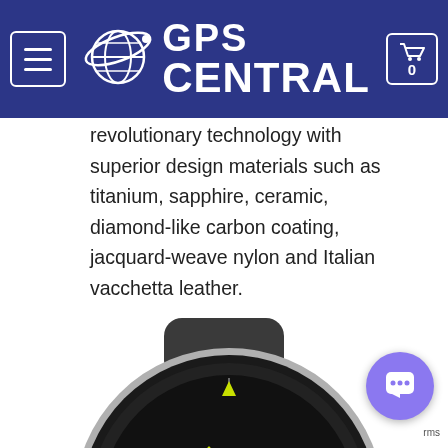GPS CENTRAL
revolutionary technology with superior design materials such as titanium, sapphire, ceramic, diamond-like carbon coating, jacquard-weave nylon and Italian vacchetta leather.
[Figure (photo): A Garmin MARQ smartwatch with black case and black strap, displaying a watch face with green accents showing heart rate 153, total 30, date SAT 01]